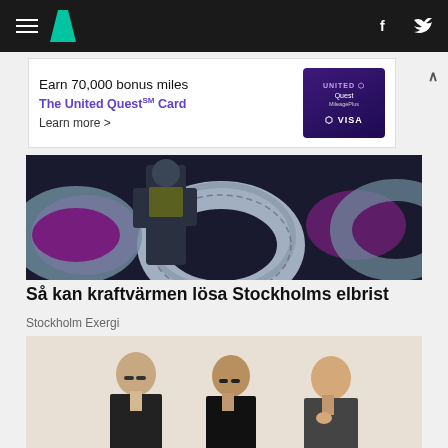HuffPost navigation bar with hamburger menu, logo, Facebook and Twitter icons
[Figure (photo): Advertisement banner: Earn 70,000 bonus miles, The United Quest Card, Learn more, United Quest Visa card image]
[Figure (photo): Photo of a person in work uniform standing among large metallic tubular structures with purple lighting]
Så kan kraftvärmen lösa Stockholms elbrist
Stockholm Exergi
[Figure (photo): Photo of three people (two women and one man) seated, appearing to be in a professional or press setting with light beige background]